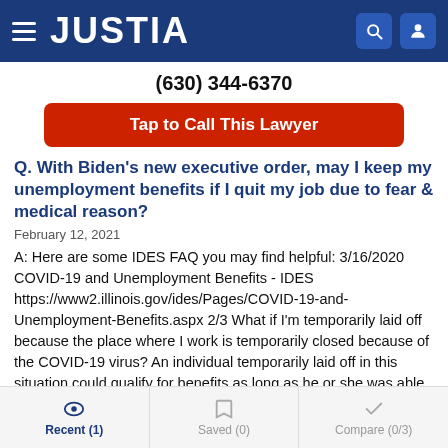JUSTIA
(630) 344-6370
Tap to Call This Lawyer
Q. With Biden's new executive order, may I keep my unemployment benefits if I quit my job due to fear & medical reason?
February 12, 2021
A: Here are some IDES FAQ you may find helpful: 3/16/2020 COVID-19 and Unemployment Benefits - IDES https://www2.illinois.gov/ides/Pages/COVID-19-and-Unemployment-Benefits.aspx 2/3 What if I'm temporarily laid off because the place where I work is temporarily closed because of the COVID-19 virus? An individual temporarily laid off in this situation could qualify for benefits as long as he or she was able and available for and actively seeking work.
Recent (1)   Saved (0)   Compare (0/3)